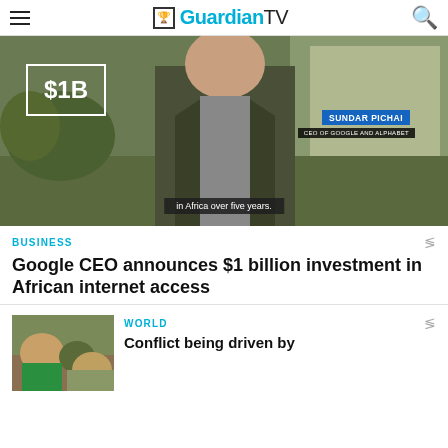GuardianTV
[Figure (screenshot): Video thumbnail showing a man with text overlay '$1B', name badge 'SUNDAR PICHAI CEO OF GOOGLE AND ALPHABET', and subtitle 'in Africa over five years.']
BUSINESS
Google CEO announces $1 billion investment in African internet access
[Figure (photo): Thumbnail image showing people outdoors, green clothing visible]
WORLD
Conflict being driven by